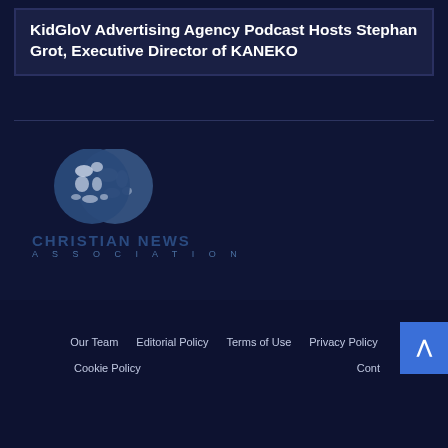KidGloV Advertising Agency Podcast Hosts Stephan Grot, Executive Director of KANEKO
[Figure (logo): Christian News Association logo: two overlapping globe icons (blue/grey world map), with bold text CHRISTIAN NEWS in dark blue and spaced letters ASSOCIATION below]
Our Team   Editorial Policy   Terms of Use   Privacy Policy   Cookie Policy   Cont...